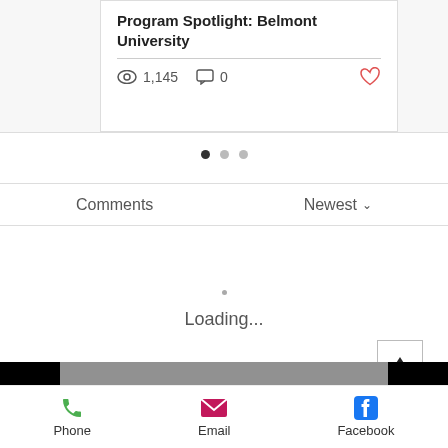Program Spotlight: Belmont University
1,145   0
[Figure (infographic): Pagination dots: three dots, first one filled dark, two light gray]
Comments
Newest ∨
Loading...
Become a College Musical Theatre Insider today!
Phone   Email   Facebook